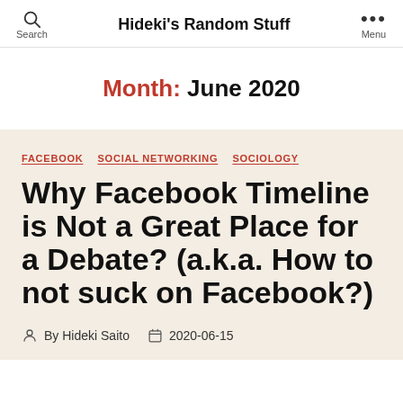Hideki's Random Stuff
Month: June 2020
FACEBOOK  SOCIAL NETWORKING  SOCIOLOGY
Why Facebook Timeline is Not a Great Place for a Debate? (a.k.a. How to not suck on Facebook?)
By Hideki Saito  2020-06-15